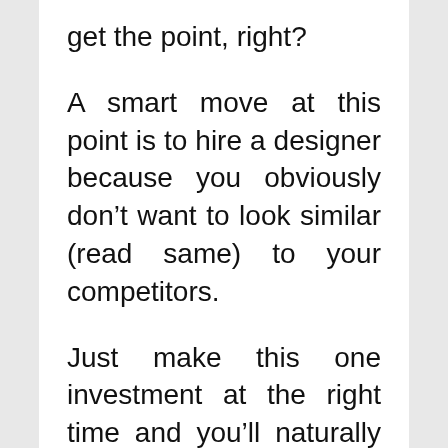get the point, right?
A smart move at this point is to hire a designer because you obviously don’t want to look similar (read same) to your competitors.
Just make this one investment at the right time and you’ll naturally one-up your competitors.